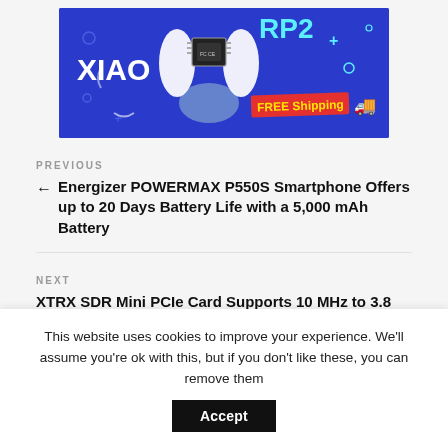[Figure (illustration): Advertisement banner with blue background showing XIAO RP2 microcontroller being held by white gloved hands, with FREE Shipping badge in red/yellow and a truck icon on the right side.]
PREVIOUS
← Energizer POWERMAX P550S Smartphone Offers up to 20 Days Battery Life with a 5,000 mAh Battery
NEXT
XTRX SDR Mini PCIe Card Supports 10 MHz to 3.8
This website uses cookies to improve your experience. We'll assume you're ok with this, but if you don't like these, you can remove them